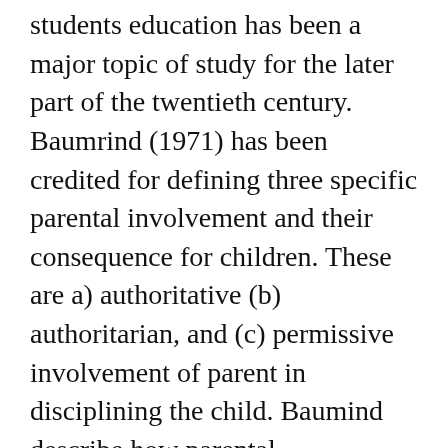students education has been a major topic of study for the later part of the twentieth century. Baumrind (1971) has been credited for defining three specific parental involvement and their consequence for children. These are a) authoritative (b) authoritarian, and (c) permissive involvement of parent in disciplining the child. Baumind describe how parental involvement affect measure of competence, achievement and social development.
Although, student are primary the ones for whom curricula  are designed, textbooks are written, and school built,